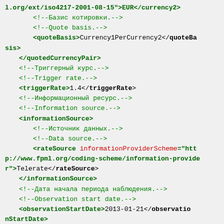XML code snippet showing FpML currency pair structure with triggerRate, informationSource, rateSource, and observationStartDate elements with Russian and English comments